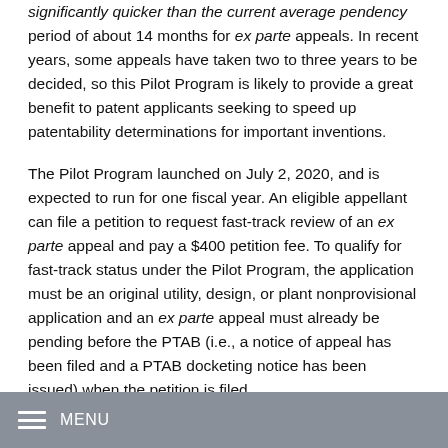significantly quicker than the current average pendency period of about 14 months for ex parte appeals. In recent years, some appeals have taken two to three years to be decided, so this Pilot Program is likely to provide a great benefit to patent applicants seeking to speed up patentability determinations for important inventions.
The Pilot Program launched on July 2, 2020, and is expected to run for one fiscal year. An eligible appellant can file a petition to request fast-track review of an ex parte appeal and pay a $400 petition fee. To qualify for fast-track status under the Pilot Program, the application must be an original utility, design, or plant nonprovisional application and an ex parte appeal must already be pending before the PTAB (i.e., a notice of appeal has been filed and a PTAB docketing notice has been issued) when the petition is filed.
MENU